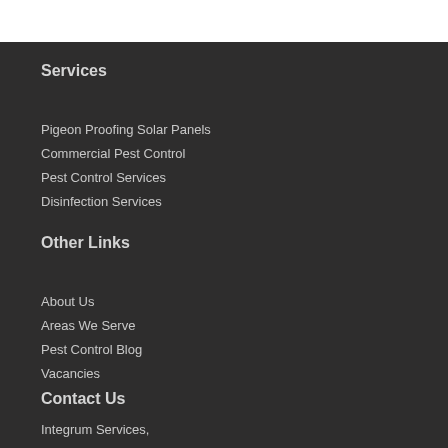Services
Pigeon Proofing Solar Panels
Commercial Pest Control
Pest Control Services
Disinfection Services
Other Links
About Us
Areas We Serve
Pest Control Blog
Vacancies
Contact Us
Integrum Services,